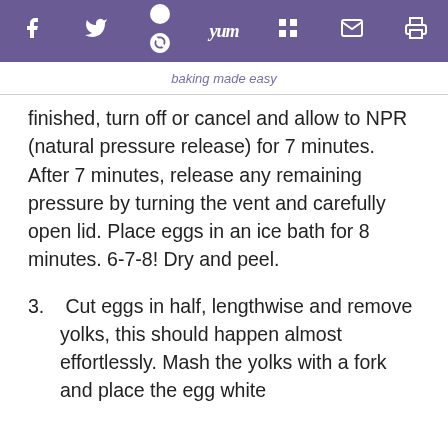f  y  p  yum  m  mail  print
baking made easy
finished, turn off or cancel and allow to NPR (natural pressure release) for 7 minutes. After 7 minutes, release any remaining pressure by turning the vent and carefully open lid. Place eggs in an ice bath for 8 minutes. 6-7-8! Dry and peel.
3. Cut eggs in half, lengthwise and remove yolks, this should happen almost effortlessly. Mash the yolks with a fork and place the egg white